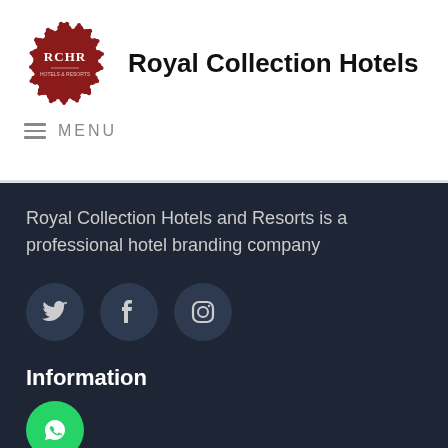[Figure (logo): Royal Collection Hotels and Resorts circular logo — dark red/maroon gear-shaped badge with 'RCHR' text in white]
Royal Collection Hotels
≡ MENU
Royal Collection Hotels and Resorts is a professional hotel branding company
[Figure (illustration): Three social media icons in dark circles: Twitter bird, Facebook f, Instagram camera]
Information
[Figure (illustration): Green WhatsApp button circle with phone/chat icon]
About